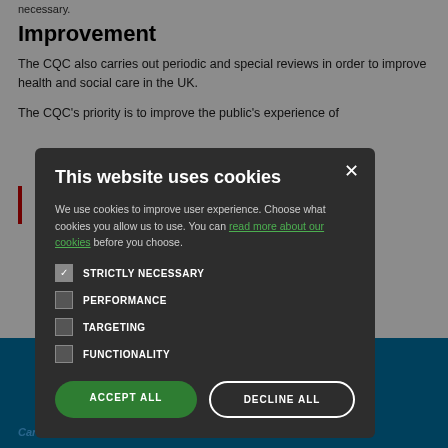necessary.
Improvement
The CQC also carries out periodic and special reviews in order to improve health and social care in the UK.
The CQC's priority is to improve the public's experience of
[Figure (screenshot): Cookie consent modal dialog on dark overlay background. Title: 'This website uses cookies'. Body text: 'We use cookies to improve user experience. Choose what cookies you allow us to use. You can read more about our cookies before you choose.' Four checkboxes: STRICTLY NECESSARY (checked), PERFORMANCE (unchecked), TARGETING (unchecked), FUNCTIONALITY (unchecked). Two buttons: ACCEPT ALL (green) and DECLINE ALL (outlined white).]